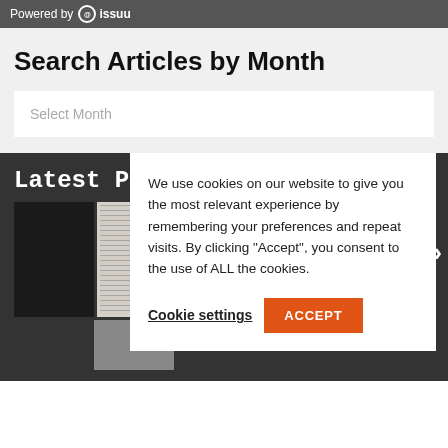Powered by issuu
Search Articles by Month
Select Month
Latest Pri...
[Figure (screenshot): Thumbnail of a printed article page with text columns and a circular photo]
We use cookies on our website to give you the most relevant experience by remembering your preferences and repeat visits. By clicking “Accept”, you consent to the use of ALL the cookies.
Cookie settings
ACCEPT